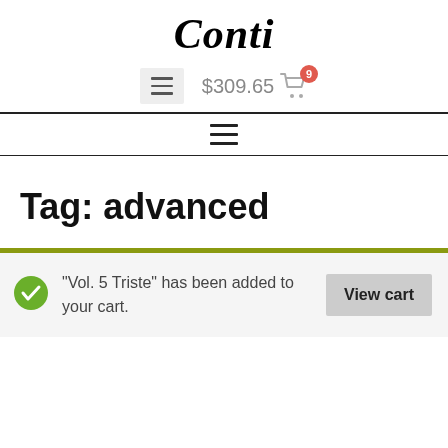Conti
$309.65 — cart with 9 items, menu button
Navigation menu bar
Tag: advanced
"Vol. 5 Triste" has been added to your cart.
View cart